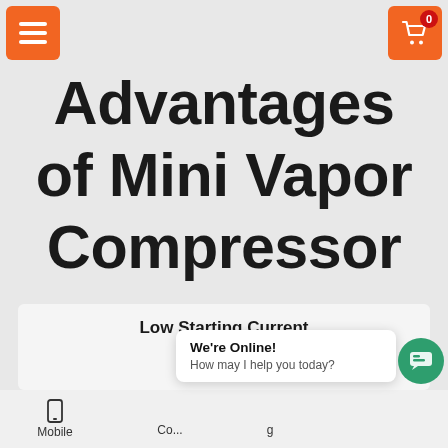Advantages of Mini Vapor Compressor
Low Starting Current
We're Online! How may I help you today?
Mobile  Co...  g